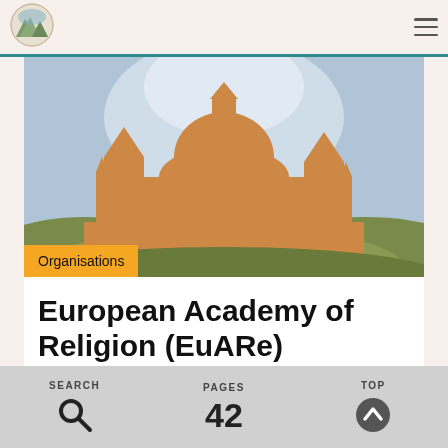[Figure (logo): Mountain/landscape oval logo in top left]
[Figure (illustration): Stylized illustration of a cathedral/church silhouette in orange against a blue-grey sky with dark hills, representing European Academy of Religion]
Organisations
European Academy of Religion (EuARe)
SEARCH
PAGES 42
TOP